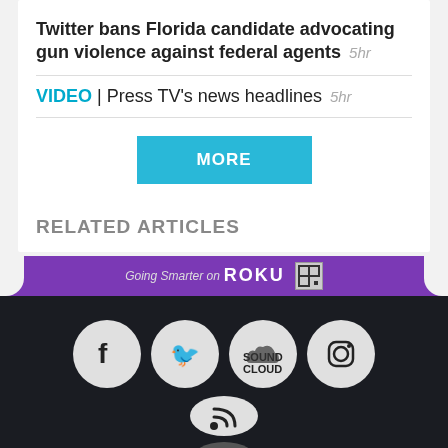Twitter bans Florida candidate advocating gun violence against federal agents  5hr
VIDEO | Press TV's news headlines  5hr
MORE
RELATED ARTICLES
[Figure (infographic): Roku promotional banner: 'Going Smarter on ROKU' with QR code, purple background]
[Figure (infographic): Social media icons on dark background: Facebook, Twitter, SoundCloud, Instagram in a row; RSS feed icon below; and a last unidentified icon below that. Hamburger menu in bottom right.]